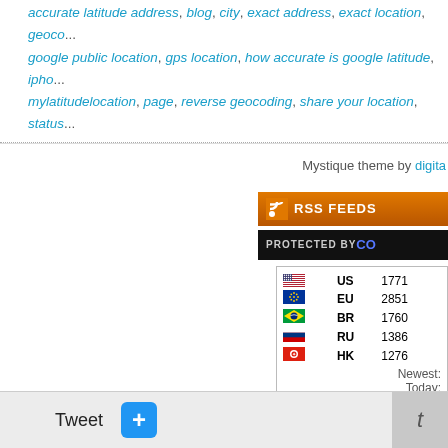accurate latitude address, blog, city, exact address, exact location, geoco..., google public location, gps location, how accurate is google latitude, ipho..., mylatitudelocation, page, reverse geocoding, share your location, status...
Mystique theme by digita...
[Figure (screenshot): RSS FEEDS button - orange background with RSS icon]
[Figure (screenshot): PROTECTED BY CO... button - black background]
| Flag | Country | Count |
| --- | --- | --- |
| US flag | US | 1771... |
| EU flag | EU | 2851... |
| BR flag | BR | 1760... |
| RU flag | RU | 1386... |
| HK flag | HK | 1276... |
Newest:
Today:
Month:
Total:
Super...
Pri...
Tweet
[Figure (screenshot): Blue plus button (+)]
t